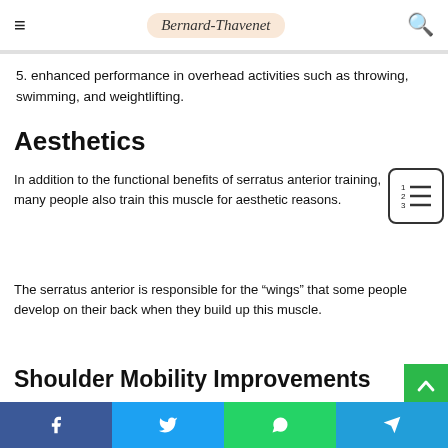Bernard-Thavenet
5. enhanced performance in overhead activities such as throwing, swimming, and weightlifting.
Aesthetics
In addition to the functional benefits of serratus anterior training, many people also train this muscle for aesthetic reasons.
The serratus anterior is responsible for the “wings” that some people develop on their back when they build up this muscle.
Shoulder Mobility Improvements
Facebook Twitter WhatsApp Telegram